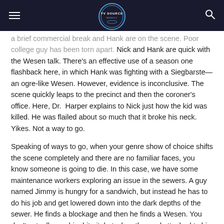TV Source Magazine
...a brief commercial break and Nick and Hank are on the scene. Poor college guy has been torn apart. Nick and Hank are quick with the Wesen talk. There's an effective use of a season one flashback here, in which Hank was fighting with a Siegbarste—an ogre-like Wesen. However, evidence is inconclusive. The scene quickly leaps to the precinct and then the coroner's office. Here, Dr. Harper explains to Nick just how the kid was killed. He was flailed about so much that it broke his neck. Yikes. Not a way to go.
Speaking of ways to go, when your genre show of choice shifts the scene completely and there are no familiar faces, you know someone is going to die. In this case, we have some maintenance workers exploring an issue in the sewers. A guy named Jimmy is hungry for a sandwich, but instead he has to do his job and get lowered down into the dark depths of the sewer. He finds a blockage and then he finds a Wesen. You don't actually see him bite it, but when the cord attached to his